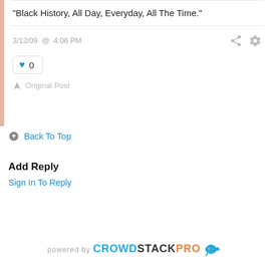"Black History, All Day, Everyday, All The Time."
3/12/09 @ 4:06 PM
0
Original Post
Back To Top
Add Reply
Sign In To Reply
powered by CROWDSTACKPRO